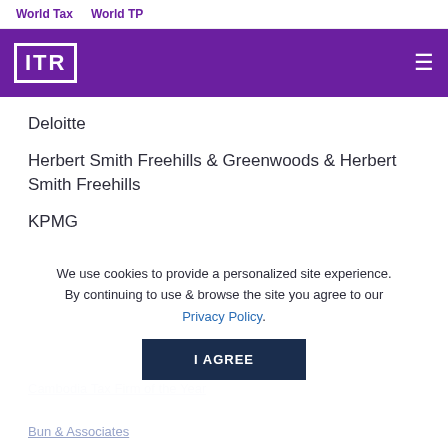World Tax   World TP
[Figure (logo): ITR logo in white on purple background with hamburger menu icon]
Deloitte
Herbert Smith Freehills & Greenwoods & Herbert Smith Freehills
KPMG
We use cookies to provide a personalized site experience. By continuing to use & browse the site you agree to our Privacy Policy.
Cambodia Tax Firm of the Year
Bun & Associates
Deloitte